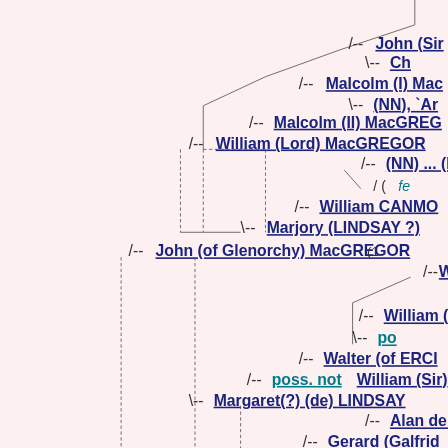[Figure (organizational-chart): Genealogical family tree diagram showing ancestors of John (of Glenorchy) MacGREGOR, displayed as a hierarchical tree with connecting lines. Names include John (Sir), Malcolm (I) MacGregor, Malcolm (II) MacGREGOR, William (Lord) MacGREGOR, (NN) (N..., William CANMO..., Marjory (LINDSAY ?), John (of Glenorchy) MacGREGOR, William ..., William (...), poss. ..., Walter (of ERCI..., poss. not William (Sir) ..., Margaret(?) (de) LINDSAY, Alan de L..., Gerard (Galfrid...]